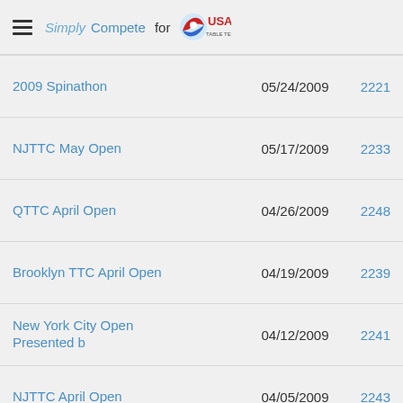SimplyCompete for USA Table Tennis
2009 Spinathon | 05/24/2009 | 2221
NJTTC May Open | 05/17/2009 | 2233
QTTC April Open | 04/26/2009 | 2248
Brooklyn TTC April Open | 04/19/2009 | 2239
New York City Open Presented b | 04/12/2009 | 2241
NJTTC April Open | 04/05/2009 | 2243
QTTC March Open | 03/29/2009 | 2257
2009 Butterfly Cary Cup Champi | 03/22/2009 | 2251